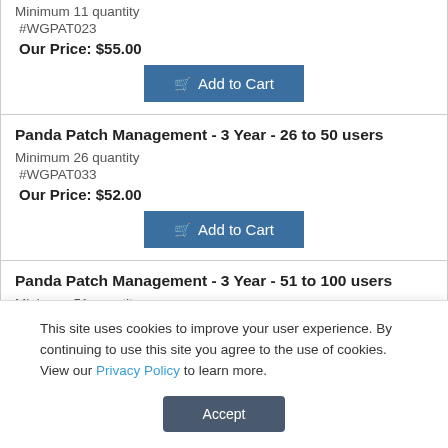Minimum 11 quantity
#WGPAT023
Our Price: $55.00
Add to Cart
Panda Patch Management - 3 Year - 26 to 50 users
Minimum 26 quantity
#WGPAT033
Our Price: $52.00
Add to Cart
Panda Patch Management - 3 Year - 51 to 100 users
Minimum 51 quantity
This site uses cookies to improve your user experience. By continuing to use this site you agree to the use of cookies. View our Privacy Policy to learn more.
Accept